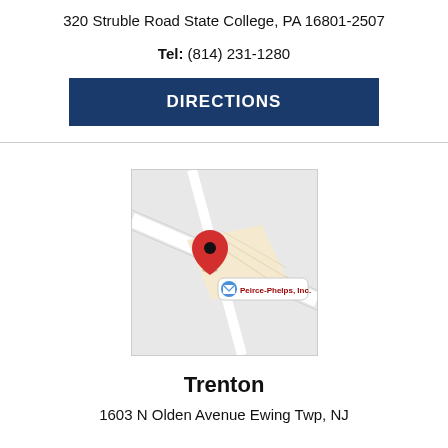320 Struble Road State College, PA 16801-2507
Tel: (814) 231-1280
DIRECTIONS
[Figure (map): Google Maps thumbnail showing location of Peirce-Phelps, Inc. with a red map pin marker and the label 'Peirce-Phelps, Inc.']
Trenton
1603 N Olden Avenue Ewing Twp, NJ